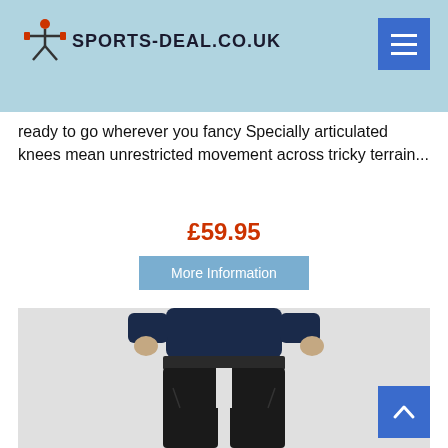SPORTS-DEAL.CO.UK
ready to go wherever you fancy Specially articulated knees mean unrestricted movement across tricky terrain...
£59.95
More Information
[Figure (photo): Person wearing dark navy blue t-shirt and black slim-fit trousers/pants, showing from waist down, against a light grey background.]